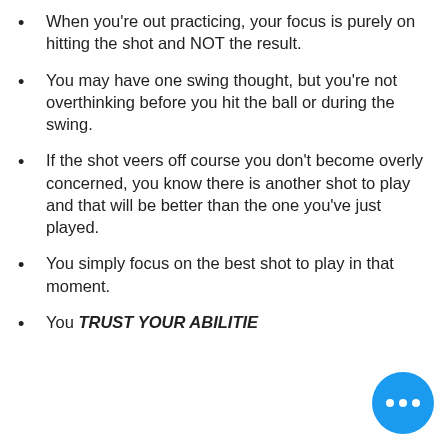When you're out practicing, your focus is purely on hitting the shot and NOT the result.
You may have one swing thought, but you're not overthinking before you hit the ball or during the swing.
If the shot veers off course you don't become overly concerned, you know there is another shot to play and that will be better than the one you've just played.
You simply focus on the best shot to play in that moment.
You TRUST YOUR ABILITIE…